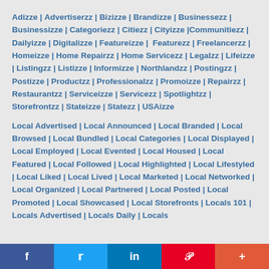Adizze | Advertiserzz | Bizizze | Brandizze | Businessezz | Businessizze | Categoriezz | Citiezz | Cityizze | Communitiezz | Dailyizze | Digitalizze | Featureizze | Featurezz | Freelancerzz | Homeizze | Home Repairzz | Home Servicezz | Legalzz | Lifeizze | Listingzz | Listizze | Informizze | Northlandzz | Postingzz | Postizze | Productzz | Professionalzz | Promoizze | Repairzz | Restaurantzz | Serviceizze | Servicezz | Spotlightzz | Storefrontzz | Stateizze | Statezz | USAizze
Local Advertised | Local Announced | Local Branded | Local Browsed | Local Bundled | Local Categories | Local Displayed | Local Employed | Local Evented | Local Housed | Local Featured | Local Followed | Local Highlighted | Local Lifestyled | Local Liked | Local Lived | Local Marketed | Local Networked | Local Organized | Local Partnered | Local Posted | Local Promoted | Local Showcased | Local Storefronts | Locals 101 | Locals Advertised | Locals Daily | Locals
f | (Twitter bird) | in | P | +